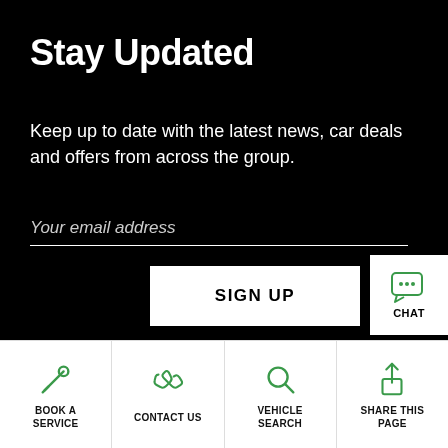Stay Updated
Keep up to date with the latest news, car deals and offers from across the group.
Your email address
SIGN UP
[Figure (illustration): Chat bubble icon with three dots and CHAT label]
[Figure (illustration): Wrench icon - BOOK A SERVICE]
[Figure (illustration): Phone icon - CONTACT US]
[Figure (illustration): Magnifying glass icon - VEHICLE SEARCH]
[Figure (illustration): Share icon - SHARE THIS PAGE]